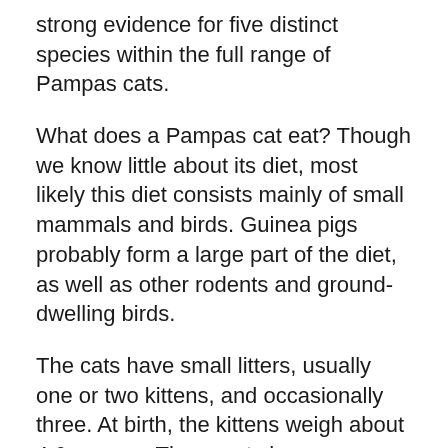strong evidence for five distinct species within the full range of Pampas cats.
What does a Pampas cat eat? Though we know little about its diet, most likely this diet consists mainly of small mammals and birds. Guinea pigs probably form a large part of the diet, as well as other rodents and ground-dwelling birds.
The cats have small litters, usually one or two kittens, and occasionally three. At birth, the kittens weigh about 4.6 ounces. These cats have an average lifespan of nine years, but in captivity some have lived for over 16 years.